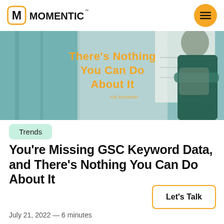MOMENTIC
[Figure (photo): Hero image showing a person with their head down on a whiteboard, with overlaid text 'There's Nothing You Can Do About It' in orange on a teal/office background]
Trends
You’re Missing GSC Keyword Data, and There’s Nothing You Can Do About It
Let's Talk
July 21, 2022 — 6 minutes